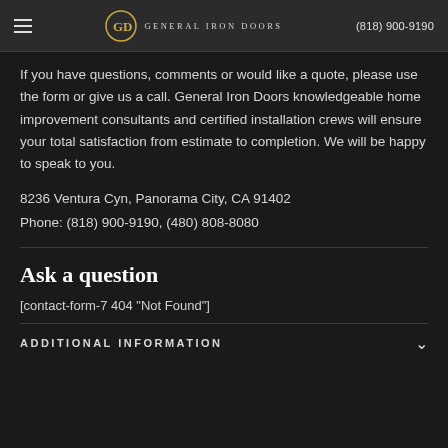General Iron Doors | (818) 900-9190
If you have questions, comments or would like a quote, please use the form or give us a call. General Iron Doors knowledgeable home improvement consultants and certified installation crews will ensure your total satisfaction from estimate to completion. We will be happy to speak to you.
8236 Ventura Cyn, Panorama City, CA 91402
Phone: (818) 900-9190, (480) 808-8080
Ask a question
[contact-form-7 404 "Not Found"]
ADDITIONAL INFORMATION